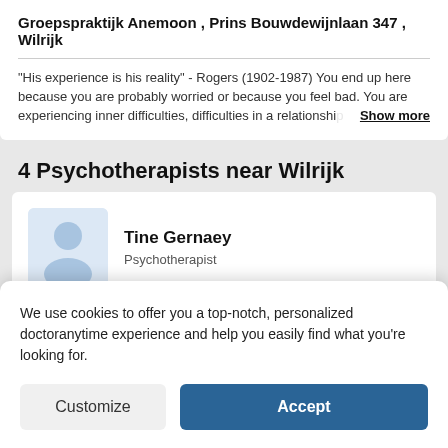Groepspraktijk Anemoon , Prins Bouwdewijnlaan 347 , Wilrijk
"His experience is his reality" - Rogers (1902-1987) You end up here because you are probably worried or because you feel bad. You are experiencing inner difficulties, difficulties in a relationship
Show more
4 Psychotherapists near Wilrijk
Tine Gernaey
Psychotherapist
Next availability
11/10/2023 00:00
We use cookies to offer you a top-notch, personalized doctoranytime experience and help you easily find what you're looking for.
Customize
Accept
5.0 km